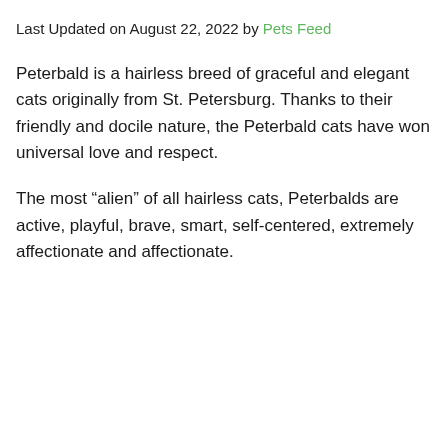Last Updated on August 22, 2022 by Pets Feed
Peterbald is a hairless breed of graceful and elegant cats originally from St. Petersburg. Thanks to their friendly and docile nature, the Peterbald cats have won universal love and respect.
The most “alien” of all hairless cats, Peterbalds are active, playful, brave, smart, self-centered, extremely affectionate and affectionate.